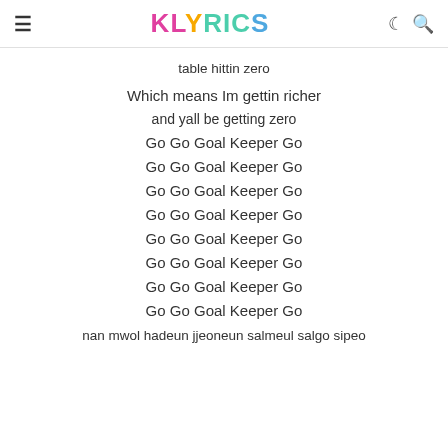KLYRICS
table hittin zero
Which means Im gettin richer
and yall be getting zero
Go Go Goal Keeper Go
Go Go Goal Keeper Go
Go Go Goal Keeper Go
Go Go Goal Keeper Go
Go Go Goal Keeper Go
Go Go Goal Keeper Go
Go Go Goal Keeper Go
Go Go Goal Keeper Go
nan mwol hadeun jjeoneun salmeul salgo sipeo